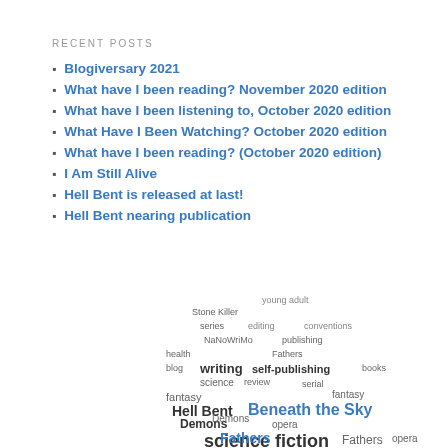RECENT POSTS
Blogiversary 2021
What have I been reading? November 2020 edition
What have I been listening to, October 2020 edition
What Have I Been Watching? October 2020 edition
What have I been reading? (October 2020 edition)
I Am Still Alive
Hell Bent is released at last!
Hell Bent nearing publication
[Figure (infographic): Word cloud tag cloud with words including: young adult, Stone Killer, series, editing, conventions, NaNoWriMo, publishing, health, Fathers, blog, writing, self-publishing, books, science, review, fantasy, Hell Bent, fantasy, Beneath the Sky, Demons, opera, science fiction, Fathers, opera, Fathers]